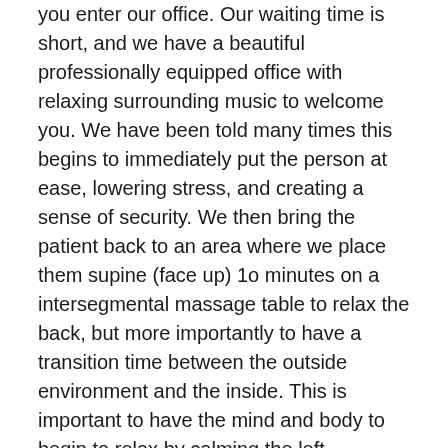you enter our office.  Our waiting time is short, and we have a beautiful professionally equipped office with relaxing surrounding music to welcome you.  We have been told many times this begins to immediately put the person at ease, lowering stress, and creating a sense of security. We then bring the patient back to an area where we place them supine (face up) 1o minutes on a intersegmental massage table to relax the back, but more importantly to have a transition time between the outside environment and the inside.  This is important to have the mind and body to begin to relax by calming the left hemisphere chatter and begin to engage the right hemisphere by reconnecting it with the body's proprioceptive awareness.
We will move them next to a massage table or adjustment table and place them prone (face down) and apply moist